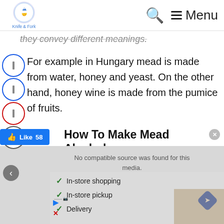Knife & Fork — Search — Menu
they convey different meanings.
For example in Hungary mead is made from water, honey and yeast. On the other hand, honey wine is made from the pumice of fruits.
How To Make Mead Alcohol
[Figure (screenshot): Video player showing 'No compatible source was found for this media.' message, with an advertisement overlay listing: In-store shopping, In-store pickup, Delivery]
Like 58